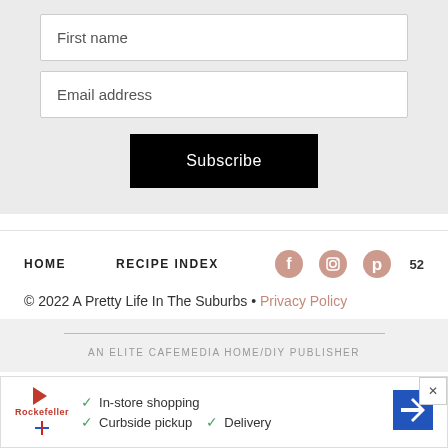First name
Email address
Subscribe
HOME   RECIPE INDEX
© 2022 A Pretty Life In The Suburbs • Privacy Policy
AN ELITE CAFEMEDIA HOME/DIY PUBLISHER
In-store shopping  Curbside pickup  Delivery